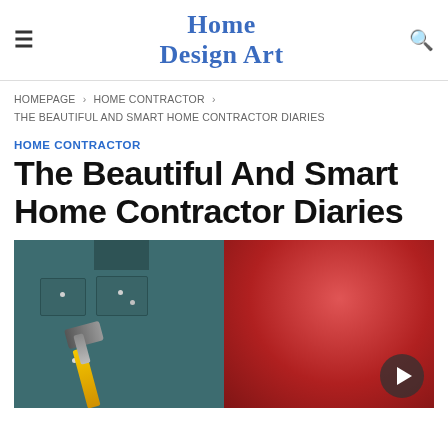Home Design Art
HOMEPAGE › HOME CONTRACTOR › THE BEAUTIFUL AND SMART HOME CONTRACTOR DIARIES
HOME CONTRACTOR
The Beautiful And Smart Home Contractor Diaries
[Figure (photo): A home contractor in a teal work shirt holding a hammer, with a red gradient background on the right half of the image.]